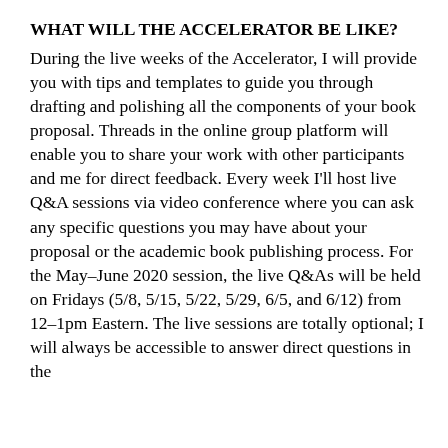WHAT WILL THE ACCELERATOR BE LIKE?
During the live weeks of the Accelerator, I will provide you with tips and templates to guide you through drafting and polishing all the components of your book proposal. Threads in the online group platform will enable you to share your work with other participants and me for direct feedback. Every week I'll host live Q&A sessions via video conference where you can ask any specific questions you may have about your proposal or the academic book publishing process. For the May–June 2020 session, the live Q&As will be held on Fridays (5/8, 5/15, 5/22, 5/29, 6/5, and 6/12) from 12–1pm Eastern. The live sessions are totally optional; I will always be accessible to answer direct questions in the